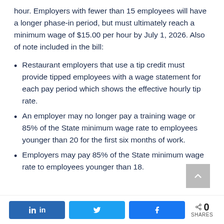hour. Employers with fewer than 15 employees will have a longer phase-in period, but must ultimately reach a minimum wage of $15.00 per hour by July 1, 2026. Also of note included in the bill:
Restaurant employers that use a tip credit must provide tipped employees with a wage statement for each pay period which shows the effective hourly tip rate.
An employer may no longer pay a training wage or 85% of the State minimum wage rate to employees younger than 20 for the first six months of work.
Employers may pay 85% of the State minimum wage rate to employees younger than 18.
in  [LinkedIn share button]  [Twitter share button]  [Facebook share button]  < 0 SHARES